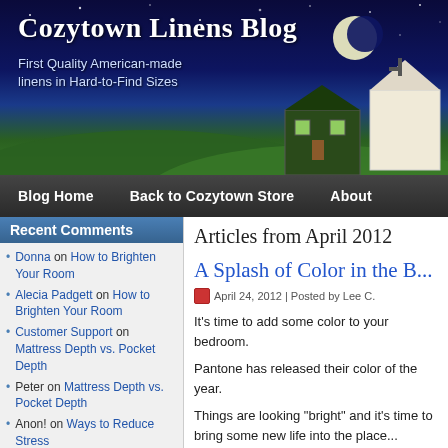[Figure (illustration): Cozytown Linens Blog banner with night sky, moon, stars, green hills, and illustrated town buildings]
Cozytown Linens Blog
First Quality American-made linens in Hard-to-Find Sizes
Blog Home | Back to Cozytown Store | About
Recent Comments
Donna on How to Brighten Your Room
Alecia Padgett on How to Brighten Your Room
Customer Support on Mattress Depth vs. Pocket Depth
Peter on Mattress Depth vs. Pocket Depth
Anon! on Ways to Reduce Stress
Categories
Bedding (93)
General (61)
Healthy Living (67)
Articles from April 2012
A Splash of Color in the B...
April 24, 2012 | Posted by Lee C.
It's time to add some color to your bedroom.
Pantone has released their color of the year.
Things are looking "bright" and it's time to bring some new life into the place...